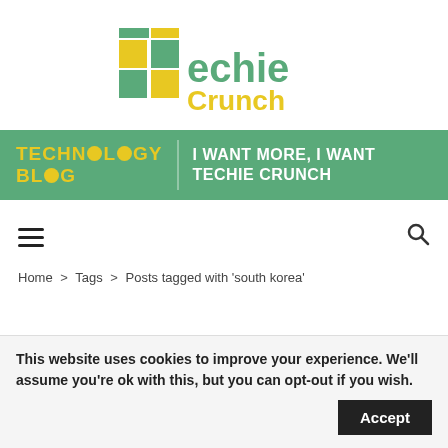[Figure (logo): Techie Crunch logo with pixel-art T made of green and yellow squares, followed by text 'echie' in green and 'Crunch' in yellow]
[Figure (infographic): Green banner with yellow text 'TECHNOLOGY BLOG' on the left and white text 'I WANT MORE, I WANT TECHIE CRUNCH' on the right]
[Figure (infographic): Navigation bar with hamburger menu icon on left and search magnifier icon on right]
Home > Tags > Posts tagged with 'south korea'
This website uses cookies to improve your experience. We'll assume you're ok with this, but you can opt-out if you wish.